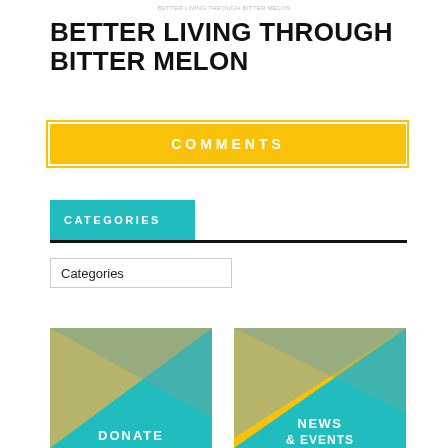BETTER LIVING THROUGH BITTER MELON
BETTER LIVING THROUGH BITTER MELON
COMMENTS
CATEGORIES
Categories
[Figure (illustration): Yellow, teal and gray geometric triangle pattern panel with 'DONATE' text at bottom]
[Figure (illustration): Yellow, teal and gray geometric triangle pattern panel with 'NEWS & EVENTS' text at bottom]